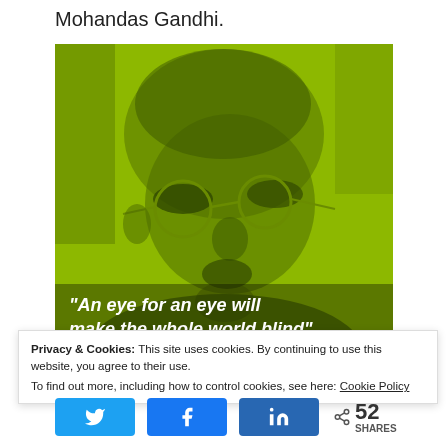Mohandas Gandhi.
[Figure (photo): Green-tinted halftone portrait of Mohandas Gandhi wearing round spectacles, with quote overlay text: "An eye for an eye will make the whole world blind"]
Privacy & Cookies: This site uses cookies. By continuing to use this website, you agree to their use.
To find out more, including how to control cookies, see here: Cookie Policy
< 52 SHARES (Twitter, Facebook, LinkedIn share buttons)